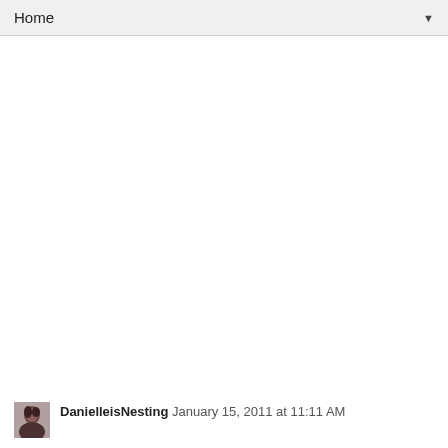Home ▼
DanielleisNesting January 15, 2011 at 11:11 AM